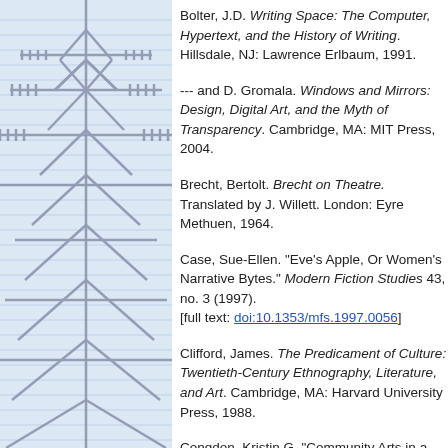[Figure (photo): Grayscale/blue-tinted photograph of a radio transmission tower/pylon with antenna arrays, set against a light blue grid-paper background, occupying the left column of the page.]
Bolter, J.D. Writing Space: The Computer, Hypertext, and the History of Writing. Hillsdale, NJ: Lawrence Erlbaum, 1991.
--- and D. Gromala. Windows and Mirrors: Design, Digital Art, and the Myth of Transparency. Cambridge, MA: MIT Press, 2004.
Brecht, Bertolt. Brecht on Theatre. Translated by J. Willett. London: Eyre Methuen, 1964.
Case, Sue-Ellen. "Eve's Apple, Or Women's Narrative Bytes." Modern Fiction Studies 43, no. 3 (1997). [full text: doi:10.1353/mfs.1997.0056]
Clifford, James. The Predicament of Culture: Twentieth-Century Ethnography, Literature, and Art. Cambridge, MA: Harvard University Press, 1988.
Congdon, Kristin G. "Community Arts in a Digital Age." CultureWork: A Periodic Broadside for Arts and Culture Workers 10, no. 2 (March 2005), http://aad.uoregon.edu/culturework/Congdon...